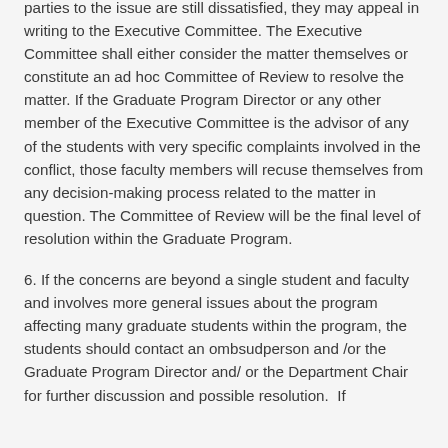parties to the issue are still dissatisfied, they may appeal in writing to the Executive Committee. The Executive Committee shall either consider the matter themselves or constitute an ad hoc Committee of Review to resolve the matter. If the Graduate Program Director or any other member of the Executive Committee is the advisor of any of the students with very specific complaints involved in the conflict, those faculty members will recuse themselves from any decision-making process related to the matter in question. The Committee of Review will be the final level of resolution within the Graduate Program.
6. If the concerns are beyond a single student and faculty and involves more general issues about the program affecting many graduate students within the program, the students should contact an ombsudperson and /or the Graduate Program Director and/ or the Department Chair for further discussion and possible resolution.  If